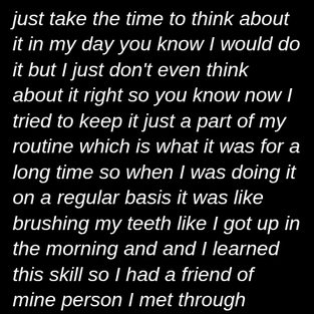just take the time to think about it in my day you know I would do it but I just don't even think about it right so you know now I tried to keep it just a part of my routine which is what it was for a long time so when I was doing it on a regular basis it was like brushing my teeth like I got up in the morning and and I learned this skill so I had a friend of mine person I met through recovery his name was yuuichi Handa and he was he's actually written some books there on Amazon about meditation and one of them coincidentally what you were talking about earlier is called eating your emotions something to that amend I can't remember exactly the title but that's the ideas that you when you have these you know what are considered negative or bad emotions he tries to